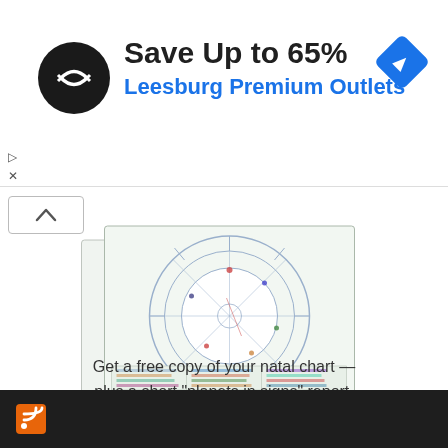[Figure (infographic): Advertisement banner: black circular logo with double arrow symbol, bold text 'Save Up to 65%' and blue bold text 'Leesburg Premium Outlets', blue diamond navigation icon on right]
[Figure (illustration): Stack of papers showing a natal/birth astrology chart with circular zodiac wheel and a data table below it]
Get a free copy of your natal chart — plus a short "planets in signs" report.
Start Your Free Report Now >>
[Figure (other): Dark footer bar with orange RSS feed icon on the left]